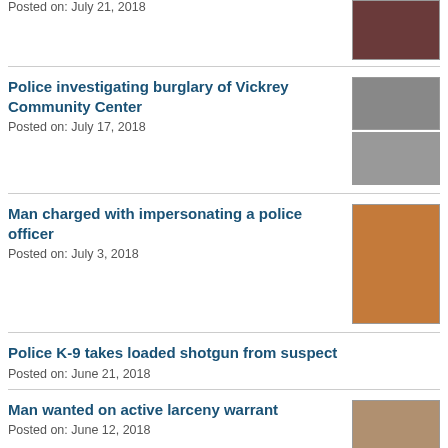Posted on: July 21, 2018
[Figure (photo): Person photo thumbnail]
Police investigating burglary of Vickrey Community Center
Posted on: July 17, 2018
[Figure (photo): Two surveillance image thumbnails]
Man charged with impersonating a police officer
Posted on: July 3, 2018
[Figure (photo): Mugshot of man in orange jumpsuit]
Police K-9 takes loaded shotgun from suspect
Posted on: June 21, 2018
Man wanted on active larceny warrant
Posted on: June 12, 2018
[Figure (photo): Mugshot of man]
Police searching for missing woman